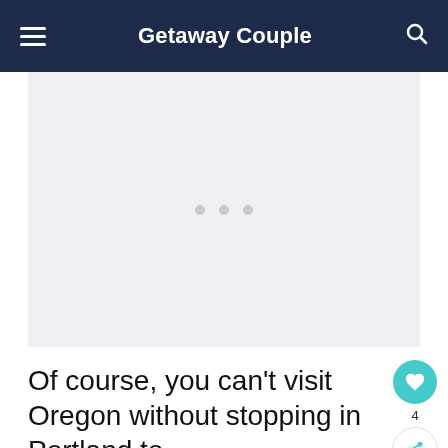Getaway Couple
[Figure (other): Loading placeholder with three dots indicating an image or advertisement is loading]
Of course, you can't visit Oregon without stopping in Portland to